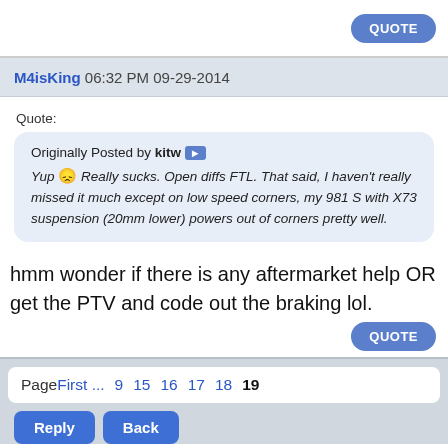QUOTE
M4isKing 06:32 PM 09-29-2014
Quote:
Originally Posted by kitw
Yup Really sucks. Open diffs FTL. That said, I haven't really missed it much except on low speed corners, my 981 S with X73 suspension (20mm lower) powers out of corners pretty well.
hmm wonder if there is any aftermarket help OR get the PTV and code out the braking lol.
QUOTE
Page First ... 9 15 16 17 18 19
Reply  Back